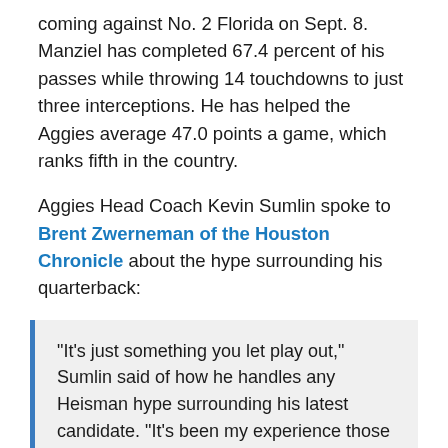coming against No. 2 Florida on Sept. 8. Manziel has completed 67.4 percent of his passes while throwing 14 touchdowns to just three interceptions. He has helped the Aggies average 47.0 points a game, which ranks fifth in the country.
Aggies Head Coach Kevin Sumlin spoke to Brent Zwerneman of the Houston Chronicle about the hype surrounding his quarterback:
"It's just something you let play out," Sumlin said of how he handles any Heisman hype surrounding his latest candidate. "It's been my experience those things take care of themselves. And you guys (reporters) are the ones who get all of that done.
According to Zwerneman, Texas A&M hasn't had a